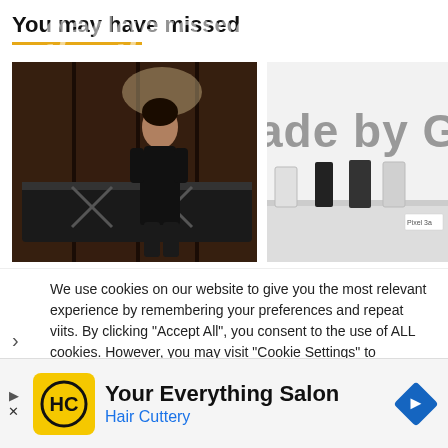gadgetometro.com
You may have missed
[Figure (photo): Woman in black outfit standing in a dark wood-paneled room with a billiard table]
[Figure (photo): Made by Google sign with Pixel phones displayed on a table, including Pixel 3a]
We use cookies on our website to give you the most relevant experience by remembering your preferences and repeat visits. By clicking "Accept All", you consent to the use of ALL cookies. However, you may visit "Cookie Settings" to
[Figure (infographic): Advertisement banner for Hair Cuttery salon with yellow HC logo and navigation arrow icon. Text: Your Everything Salon, Hair Cuttery]